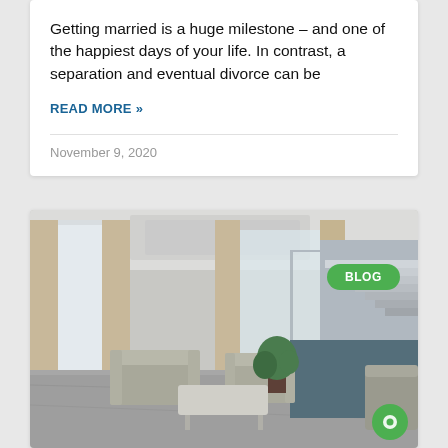Getting married is a huge milestone – and one of the happiest days of your life. In contrast, a separation and eventual divorce can be
READ MORE »
November 9, 2020
[Figure (photo): Interior photo of a modern luxury home living room with armchairs, a coffee table, a plant, and a staircase with glass railings in the background. A green 'BLOG' badge is overlaid in the top-right corner.]